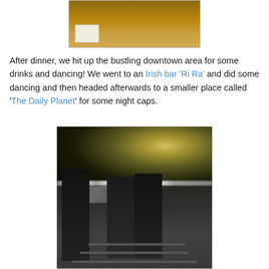[Figure (photo): Partial top of a photo showing a white plate on a wooden table surface with warm brown tones, cropped at the top of the page.]
After dinner, we hit up the bustling downtown area for some drinks and dancing! We went to an Irish bar 'Ri Ra' and did some dancing and then headed afterwards to a smaller place called 'The Daily Planet' for some night caps.
[Figure (photo): Black and white night photo of a busy downtown street scene with people walking, bright lights and light strings in the background, two figures prominently visible in the foreground center-right.]